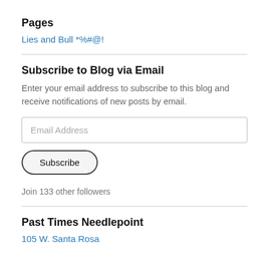Pages
Lies and Bull *%#@!
Subscribe to Blog via Email
Enter your email address to subscribe to this blog and receive notifications of new posts by email.
Email Address
Subscribe
Join 133 other followers
Past Times Needlepoint
105 W. Santa Rosa